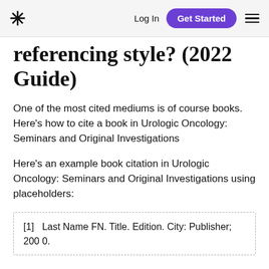Log In  Get Started
referencing style? (2022 Guide)
One of the most cited mediums is of course books. Here's how to cite a book in Urologic Oncology: Seminars and Original Investigations
Here's an example book citation in Urologic Oncology: Seminars and Original Investigations using placeholders:
[1]   Last Name FN. Title. Edition. City: Publisher; 2000.